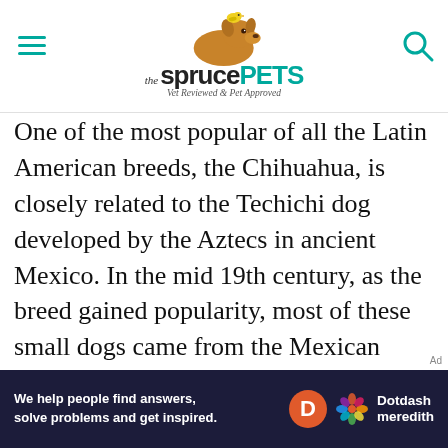the sprucePETS — Vet Reviewed & Pet Approved
One of the most popular of all the Latin American breeds, the Chihuahua, is closely related to the Techichi dog developed by the Aztecs in ancient Mexico. In the mid 19th century, as the breed gained popularity, most of these small dogs came from the Mexican state of Chihuahua, its namesake. Despite their small stature, this "handbag dog" is smart, active, and sometimes stubborn, feisty, and fearless with strangers and other dogs. They have a big dog personality in a small package. Chihuahuas are also particularly susceptible to cold weather
[Figure (other): Dotdash Meredith advertisement banner: dark navy background with white text 'We help people find answers, solve problems and get inspired.' with Dotdash Meredith logo]